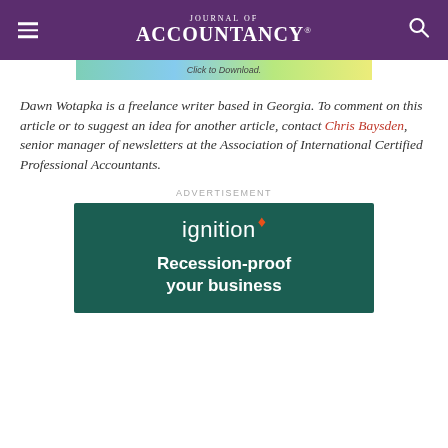Journal of Accountancy
[Figure (screenshot): Partial advertisement banner with colourful gradient background and text 'Click to Download.']
Dawn Wotapka is a freelance writer based in Georgia. To comment on this article or to suggest an idea for another article, contact Chris Baysden, senior manager of newsletters at the Association of International Certified Professional Accountants.
ADVERTISEMENT
[Figure (logo): Ignition advertisement — dark teal background with 'ignition' logo with an orange star, and bold white text 'Recession-proof your business']